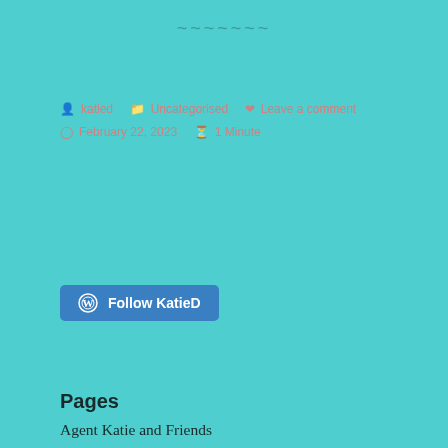~~~~~~~
katied   Uncategorised   Leave a comment
February 22, 2023   1 Minute
[Figure (other): Follow KatieD button with WordPress logo]
Pages
Agent Katie and Friends
Close Encounters of the Amphibian Kind, pt. 1
Close Encounters of the Amphibian Kind, pt. 2
Close Encounters of the Amphibian Kind, pt. 3
Close Encounters of the Amphibian Kind, pt. 4